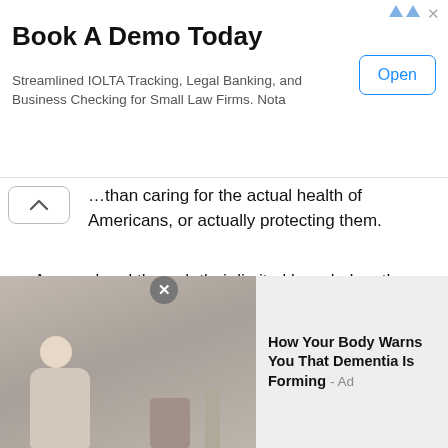[Figure (other): Advertisement banner: 'Book A Demo Today' with text 'Streamlined IOLTA Tracking, Legal Banking, and Business Checking for Small Law Firms. Nota' and an 'Open' button]
...than caring for the actual health of Americans, or actually protecting them.
As usual and through their limited knowledge, the proponents of the forced vaccination of America are quick to tout the 1905 Jacobson vs Massachusetts case as justification, rather than acknowledging each person's own individuality is as a sovereign unto oneself. They have largely ignored that Jacobson was the basis for allowing for the forced sterilization
[Figure (photo): Bottom advertisement showing a person sitting, with text 'How Your Body Warns You That Dementia Is Forming - Ad']